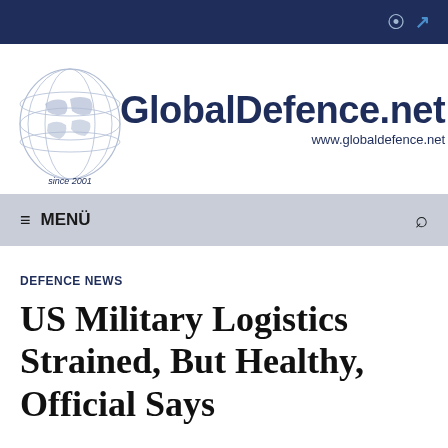GlobalDefence.net — www.globaldefence.net
DEFENCE NEWS
US Military Logistics Strained, But Healthy, Official Says